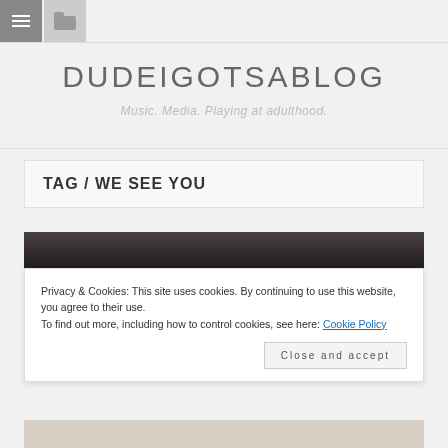DUDEIGOTSABLOG
Music. Media. Playing at adulthood.
TAG / WE SEE YOU
[Figure (photo): Partial photo strip visible behind cookie banner, dark tones at top]
Privacy & Cookies: This site uses cookies. By continuing to use this website, you agree to their use.
To find out more, including how to control cookies, see here: Cookie Policy
Close and accept
[Figure (photo): Bottom portion of photo with light/pinkish tones partially visible]